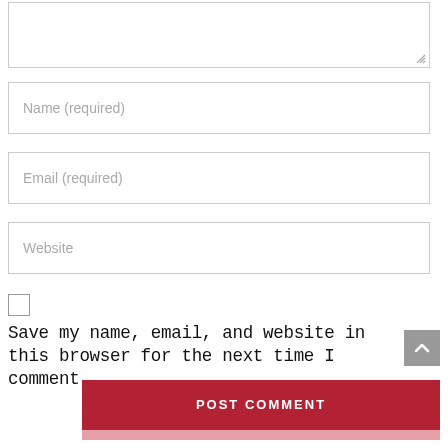[Figure (screenshot): Comment form with textarea (partially visible), Name field, Email field, Website field, save checkbox with label, and POST COMMENT button]
Name (required)
Email (required)
Website
Save my name, email, and website in this browser for the next time I comment.
POST COMMENT